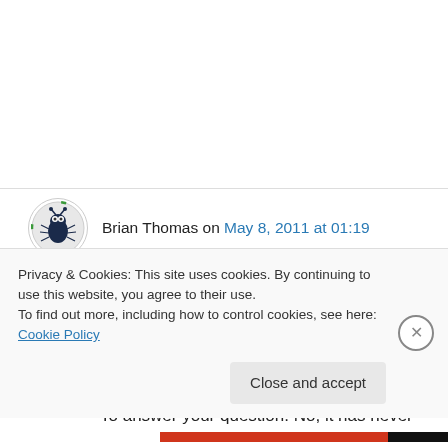Brian Thomas on May 8, 2011 at 01:19
Steven,

Many thanks. I already checked the table earlier and decided it must be a Cosmostar. Thanks for the confirmation. To answer your question. No, it has never been serviced. Mother did replace the
Privacy & Cookies: This site uses cookies. By continuing to use this website, you agree to their use.
To find out more, including how to control cookies, see here: Cookie Policy
Close and accept